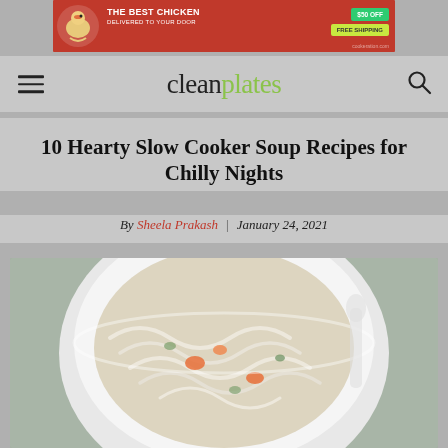[Figure (other): Advertisement banner: red background with chicken image, text 'THE BEST CHICKEN DELIVERED TO YOUR DOOR', '$50 OFF' green button, 'FREE SHIPPING' yellow button]
clean plates — navigation header with hamburger menu and search icon
10 Hearty Slow Cooker Soup Recipes for Chilly Nights
By Sheela Prakash | January 24, 2021
[Figure (photo): Overhead photo of a white bowl of noodle soup with vegetables (carrots, greens) on a light background]